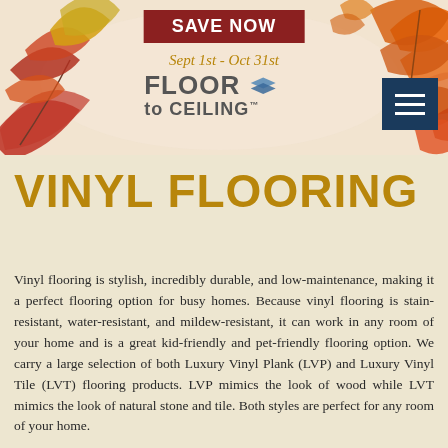[Figure (illustration): Autumn-themed header banner with orange and red fall leaves decorating the left and right sides, featuring a 'SAVE NOW' red button, date range 'Sept 1st - Oct 31st' in gold italic, and the Floor to Ceiling logo with a layered diamond icon, plus a dark blue hamburger menu button on the right.]
VINYL FLOORING
Vinyl flooring is stylish, incredibly durable, and low-maintenance, making it a perfect flooring option for busy homes. Because vinyl flooring is stain-resistant, water-resistant, and mildew-resistant, it can work in any room of your home and is a great kid-friendly and pet-friendly flooring option. We carry a large selection of both Luxury Vinyl Plank (LVP) and Luxury Vinyl Tile (LVT) flooring products. LVP mimics the look of wood while LVT mimics the look of natural stone and tile. Both styles are perfect for any room of your home.